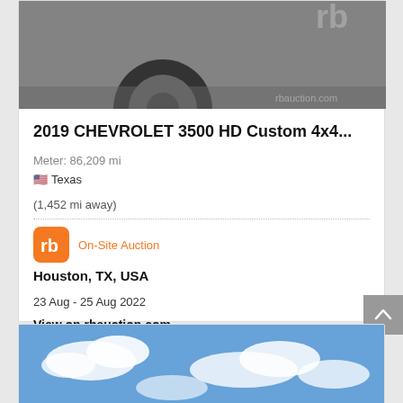[Figure (photo): Grayscale photo of the underside/wheel area of a truck, with 'rb' watermark visible in top right corner]
2019 CHEVROLET 3500 HD Custom 4x4...
Meter: 86,209 mi
🇺🇸 Texas
(1,452 mi away)
On-Site Auction
Houston, TX, USA
23 Aug - 25 Aug 2022
View on rbauction.com
[Figure (photo): Photo of blue sky with white clouds]